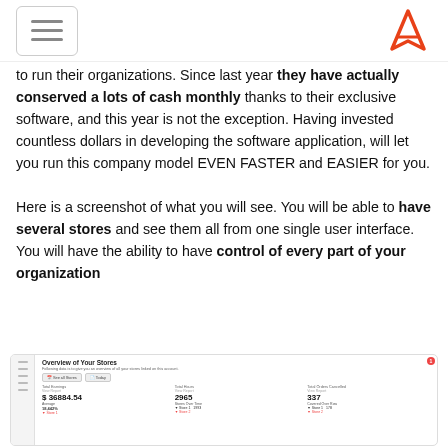[hamburger menu icon] [logo A]
to run their organizations. Since last year they have actually conserved a lots of cash monthly thanks to their exclusive software, and this year is not the exception. Having invested countless dollars in developing the software application, will let you run this company model EVEN FASTER and EASIER for you.

Here is a screenshot of what you will see. You will be able to have several stores and see them all from one single user interface. You will have the ability to have control of every part of your organization
[Figure (screenshot): Screenshot of a dashboard titled 'Overview of Your Stores' showing metrics: Total Earnings $36884.54, Total Hours 2965, Total Orders Cancelled 337, with sub-metrics and trend data. Left navigation sidebar visible.]